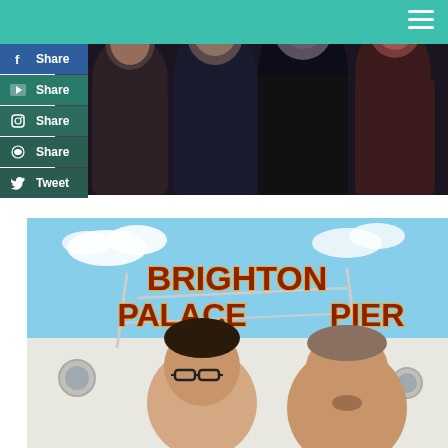[Figure (photo): Teal navigation header bar with hamburger menu icon on the right]
[Figure (photo): Group of four people smiling, dark background, indoor photo]
[Figure (photo): Two men taking a selfie in front of Brighton Palace Pier sign]